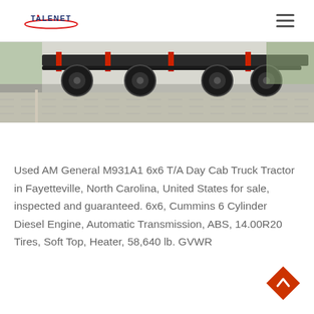TALENET
[Figure (photo): Bottom portion of a truck tractor showing axles, wheels, and red chassis frame, parked on a brick/cobblestone surface with trees and road visible in background.]
Used AM General M931A1 6x6 T/A Day Cab Truck Tractor in Fayetteville, North Carolina, United States for sale, inspected and guaranteed. 6x6, Cummins 6 Cylinder Diesel Engine, Automatic Transmission, ABS, 14.00R20 Tires, Soft Top, Heater, 58,640 lb. GVWR